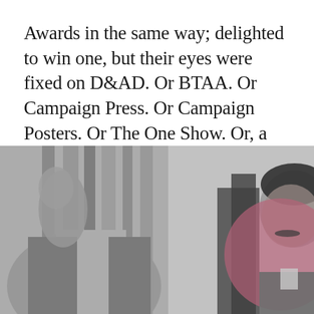Awards in the same way; delighted to win one, but their eyes were fixed on D&AD. Or BTAA. Or Campaign Press. Or Campaign Posters. Or The One Show. Or, a bit later, Cannes. In fact, my first ever advertising award was a Creative Read more
[Figure (photo): Black and white photograph of a man in a suit, partially visible, with a pink/mauve circular graphic overlay on the right side of the image. The man appears to be seated or leaning, with his hand raised. Background shows vertical curtain-like shapes.]